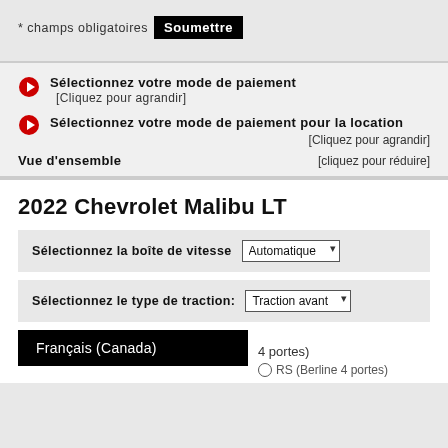* champs obligatoires  Soumettre
Sélectionnez votre mode de paiement [Cliquez pour agrandir]
Sélectionnez votre mode de paiement pour la location [Cliquez pour agrandir]
Vue d'ensemble [cliquez pour réduire]
2022 Chevrolet Malibu LT
Sélectionnez la boîte de vitesse  Automatique ▾
Sélectionnez le type de traction:  Traction avant ▾
Français (Canada)
4 portes)
RS (Berline 4 portes)